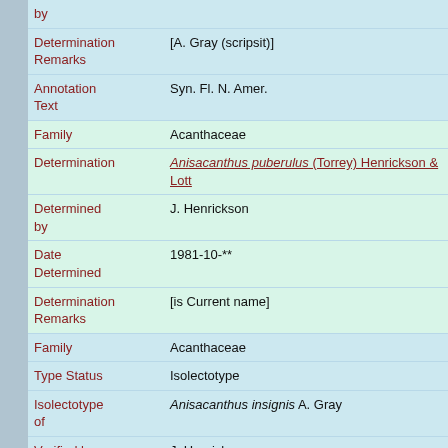| Field | Value |
| --- | --- |
| by |  |
| Determination Remarks | [A. Gray (scripsit)] |
| Annotation Text | Syn. Fl. N. Amer. |
| Family | Acanthaceae |
| Determination | Anisacanthus puberulus (Torrey) Henrickson & Lott |
| Determined by | J. Henrickson |
| Date Determined | 1981-10-** |
| Determination Remarks | [is Current name] |
| Family | Acanthaceae |
| Type Status | Isolectotype |
| Isolectotype of | Anisacanthus insignis A. Gray |
| Verified by | J. Henrickson |
| Date Determined | 1981-10-** |
| Taxon Reference | (for Anisacanthus insignis A. Gray) Syn. Fl. N. Amer. 1886. 2(1): 457. |
| Family | Acanthaceae |